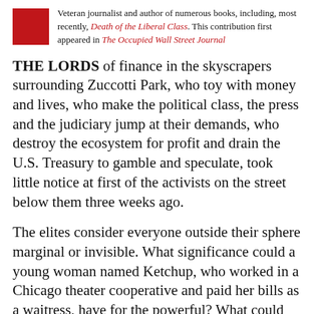Veteran journalist and author of numerous books, including, most recently, Death of the Liberal Class. This contribution first appeared in The Occupied Wall Street Journal
THE LORDS of finance in the skyscrapers surrounding Zuccotti Park, who toy with money and lives, who make the political class, the press and the judiciary jump at their demands, who destroy the ecosystem for profit and drain the U.S. Treasury to gamble and speculate, took little notice at first of the activists on the street below them three weeks ago.
The elites consider everyone outside their sphere marginal or invisible. What significance could a young woman named Ketchup, who worked in a Chicago theater cooperative and paid her bills as a waitress, have for the powerful? What could she and those in Zuccotti Park to to them? What threat can the weak post to the strong?
Those who worship money believe their buckets of cash, like the $4.6 million JPMorgan Chase gave last